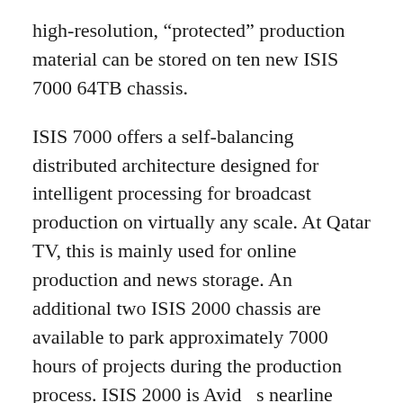high-resolution, “protected” production material can be stored on ten new ISIS 7000 64TB chassis.
ISIS 7000 offers a self-balancing distributed architecture designed for intelligent processing for broadcast production on virtually any scale. At Qatar TV, this is mainly used for online production and news storage. An additional two ISIS 2000 chassis are available to park approximately 7000 hours of projects during the production process. ISIS 2000 is Avid’s nearline storage solution for building cost-effective large-scale media storage. For the main house format at Qatar TV, TVSDC chose Avid’s DNxHD120 codec technology.
The codec is engineered to create mastering-quality HD media at reduced file sizes with minimal degradation over multiple generations. DNxHD120